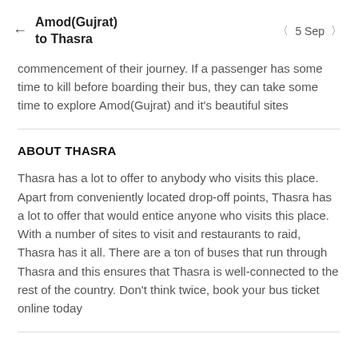Amod(Gujrat) to Thasra  ← 5 Sep →
commencement of their journey. If a passenger has some time to kill before boarding their bus, they can take some time to explore Amod(Gujrat) and it's beautiful sites
ABOUT THASRA
Thasra has a lot to offer to anybody who visits this place. Apart from conveniently located drop-off points, Thasra has a lot to offer that would entice anyone who visits this place. With a number of sites to visit and restaurants to raid, Thasra has it all. There are a ton of buses that run through Thasra and this ensures that Thasra is well-connected to the rest of the country. Don't think twice, book your bus ticket online today